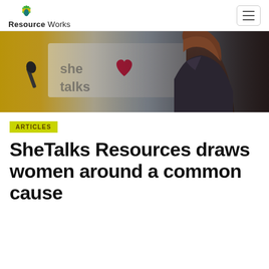Resource Works
[Figure (photo): Photo showing a woman from behind with reddish-brown hair in front of a blurred sign with a pink heart, a microphone visible on the left side. The sign appears to say 'she talks' or similar.]
ARTICLES
SheTalks Resources draws women around a common cause